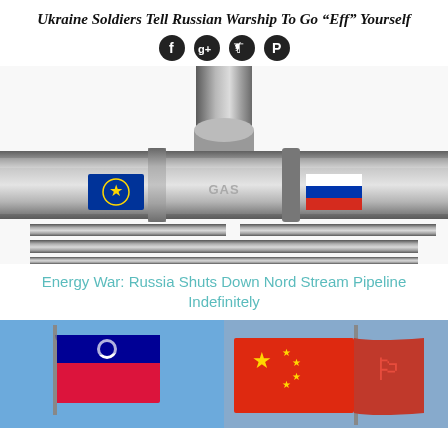Ukraine Soldiers Tell Russian Warship To Go “Eff” Yourself
[Figure (other): Social media share icons: Facebook, Google+, Twitter, Pinterest — black circles with white icons]
[Figure (photo): Illustration of a gas pipeline with a T-junction valve, showing EU flag on left side and Russian flag on right side, with GAS label in center]
Energy War: Russia Shuts Down Nord Stream Pipeline Indefinitely
[Figure (photo): Two photos side by side: left shows Taiwan flag waving against blue sky, right shows Chinese flag waving against blue sky]